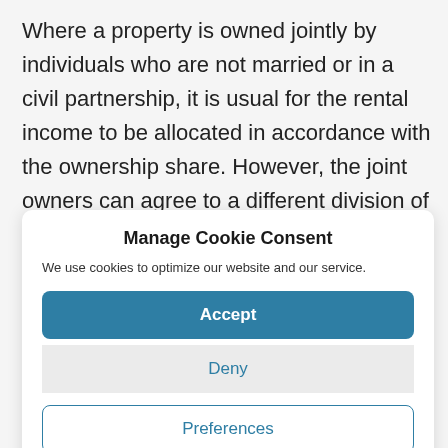Where a property is owned jointly by individuals who are not married or in a civil partnership, it is usual for the rental income to be allocated in accordance with the ownership share. However, the joint owners can agree to a different division of profits and losses – the allocation for
Manage Cookie Consent
We use cookies to optimize our website and our service.
Accept
Deny
Preferences